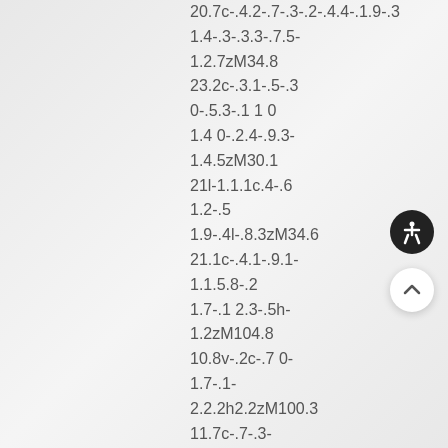20.7c-.4.2-.7-.3-.2-.4.4-.1.9-.3
1.4-.3-.3.3-.7.5-
1.2.7zM34.8
23.2c-.3.1-.5-.3
0-.5.3-.1 1 0
1.4 0-.2.4-.9.3-
1.4.5zM30.1
21l-1.1.1c.4-.6
1.2-.5
1.9-.4l-.8.3zM34.6
21.1c-.4.1-.9.1-
1.1.5.8-.2
1.7-.1 2.3-.5h-
1.2zM104.8
10.8v-.2c-.7 0-
1.7-.1-
2.2.2h2.2zM100.3
11.7c-.7-.3-